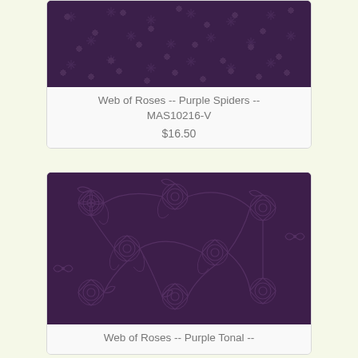[Figure (photo): Dark purple fabric with subtle spider/snowflake pattern - top portion cut off]
Web of Roses -- Purple Spiders -- MAS10216-V
$16.50
[Figure (photo): Dark purple fabric with detailed floral lace tonal pattern]
Web of Roses -- Purple Tonal --